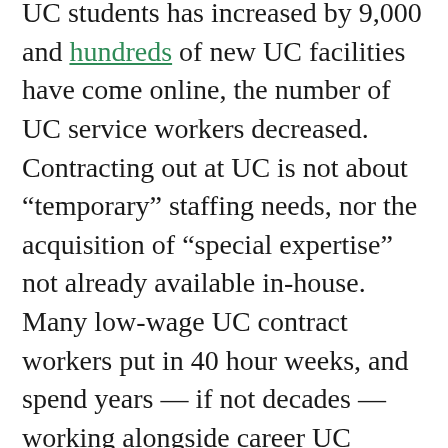UC students has increased by 9,000 and hundreds of new UC facilities have come online, the number of UC service workers decreased. Contracting out at UC is not about “temporary” staffing needs, nor the acquisition of “special expertise” not already available in-house. Many low-wage UC contract workers put in 40 hour weeks, and spend years — if not decades — working alongside career UC workers who do the same jobs. Yet the contract workers earn as much as 53 percent lower wages, have few to no benefits, and are in constant fear of losing their jobs for calling in sick or refusing to work overtime without pay.
Nothing in Napolitano’s “minimum wage”